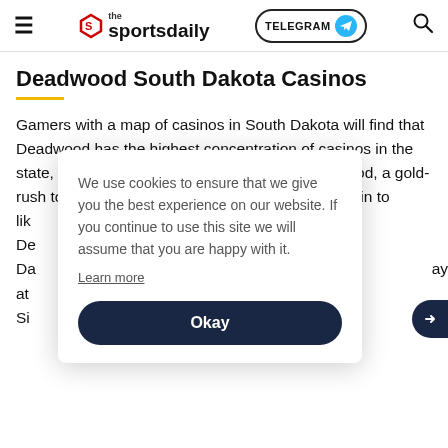the sportsdaily | TELEGRAM | (search)
Deadwood South Dakota Casinos
Gamers with a map of casinos in South Dakota will find that Deadwood has the highest concentration of casinos in the state, offering 20 retail casinos. Because Deadwood, a gold-rush town, has such a fascinating history, it draws in tourists who like... Deadwood... Dakota... at... Silver...
We use cookies to ensure that we give you the best experience on our website. If you continue to use this site we will assume that you are happy with it.
Learn more
Okay